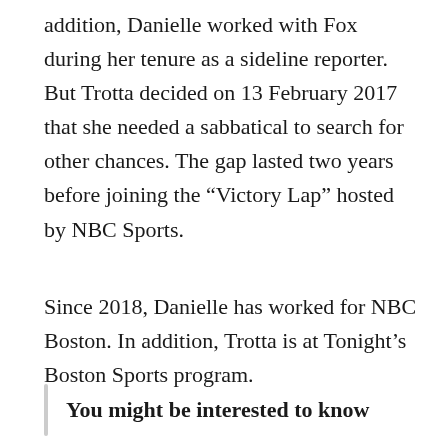addition, Danielle worked with Fox during her tenure as a sideline reporter. But Trotta decided on 13 February 2017 that she needed a sabbatical to search for other chances. The gap lasted two years before joining the “Victory Lap” hosted by NBC Sports.
Since 2018, Danielle has worked for NBC Boston. In addition, Trotta is at Tonight’s Boston Sports program.
You might be interested to know